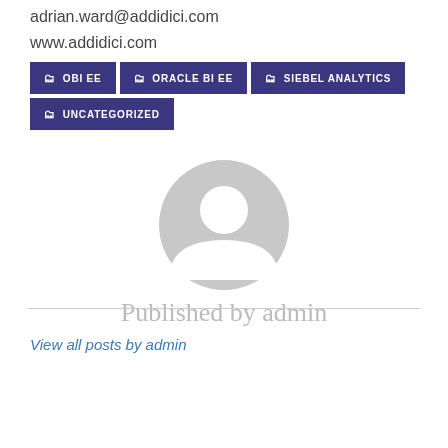adrian.ward@addidici.com
www.addidici.com
OBI EE
ORACLE BI EE
SIEBEL ANALYTICS
UNCATEGORIZED
[Figure (illustration): Generic user avatar silhouette in grey circle]
Published by admin
View all posts by admin